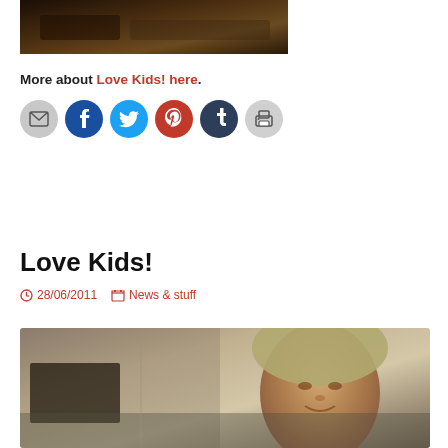[Figure (photo): Cropped photo at top of page, dark brown tones, appears to show hands]
More about Love Kids! here.
[Figure (other): Row of social sharing buttons: email, Facebook, Twitter, Pinterest, Tumblr, print]
Love Kids!
28/06/2011   News & stuff
[Figure (photo): Photo of a child's face with blonde hair, sepia/muted tones]